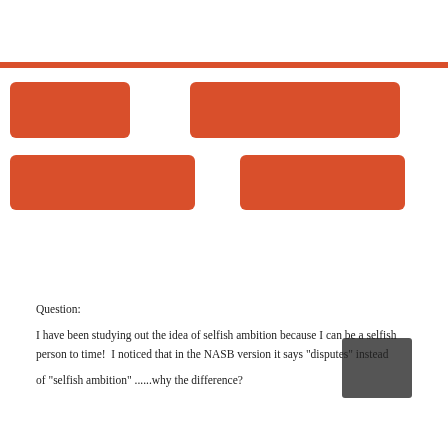[Figure (other): Orange horizontal rule divider line near top of page]
[Figure (other): Four orange rounded rectangles arranged in two rows forming a decorative UI element]
Question:

I have been studying out the idea of selfish ambition because I can be a selfish person to time!  I noticed that in the NASB version it says "disputes" instead

of "selfish ambition" ......why the difference?